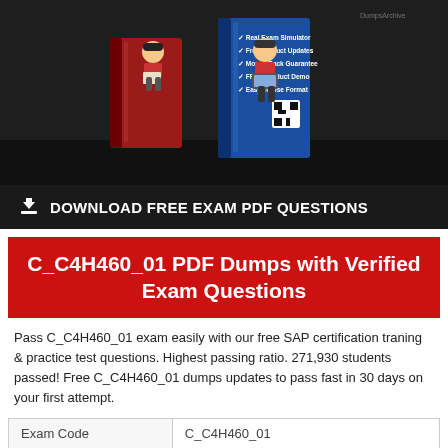[Figure (illustration): Product image showing two exam prep books — a red book and a blue book — with cartoon characters sitting on books. The blue book lists features: Real Exam Simulator, Free Product Updates, Money Back Guarantee, FREE Product Demo, Easy To Use Format. Dark background.]
DOWNLOAD FREE EXAM PDF QUESTIONS
C_C4H460_01 PDF Dumps with Verified Exam Questions
Pass C_C4H460_01 exam easily with our free SAP certification traning & practice test questions. Highest passing ratio. 271,930 students passed! Free C_C4H460_01 dumps updates to pass fast in 30 days on your first attempt.
| Exam Code |  |
| --- | --- |
| Exam Code | C_C4H460_01 |